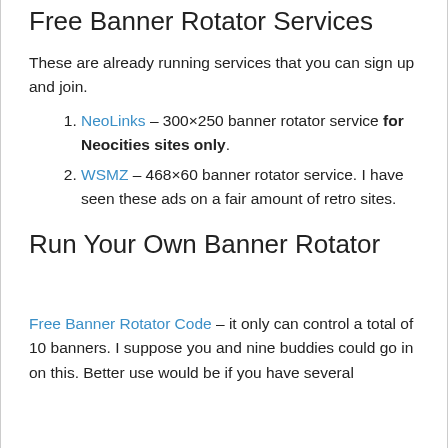Free Banner Rotator Services
These are already running services that you can sign up and join.
NeoLinks – 300×250 banner rotator service for Neocities sites only.
WSMZ –  468×60 banner rotator service.  I have seen these ads on a fair amount of retro sites.
Run Your Own Banner Rotator
Free Banner Rotator Code – it only can control a total of 10 banners.  I suppose you and nine buddies could go in on this.  Better use would be if you have several